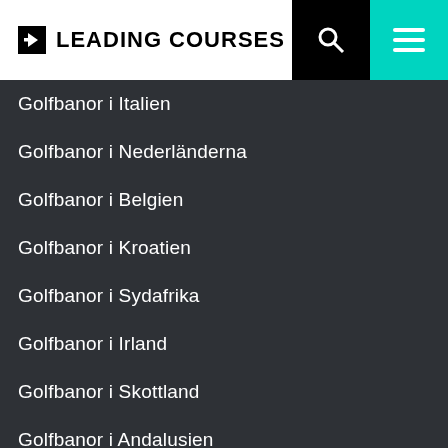LEADING COURSES
Golfbanor i Italien
Golfbanor i Nederländerna
Golfbanor i Belgien
Golfbanor i Kroatien
Golfbanor i Sydafrika
Golfbanor i Irland
Golfbanor i Skottland
Golfbanor i Andalusien